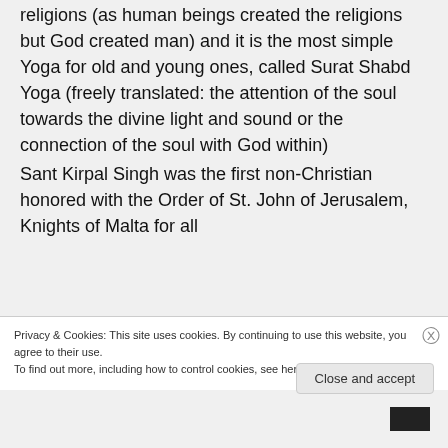religions (as human beings created the religions but God created man) and it is the most simple Yoga for old and young ones, called Surat Shabd Yoga (freely translated: the attention of the soul towards the divine light and sound or the connection of the soul with God within)

Sant Kirpal Singh was the first non-Christian honored with the Order of St. John of Jerusalem, Knights of Malta for all
Privacy & Cookies: This site uses cookies. By continuing to use this website, you agree to their use.
To find out more, including how to control cookies, see here: Cookie Policy
Close and accept